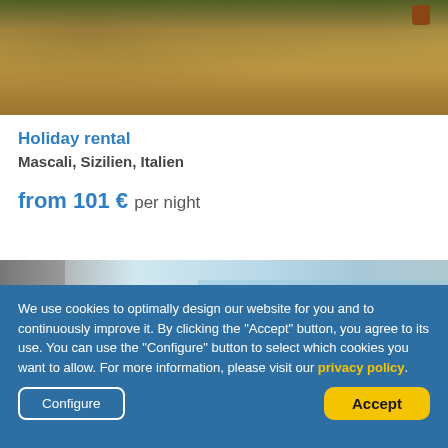[Figure (photo): Top portion of a garden or dry land area with brownish-yellow ground, some green vegetation at top edge, and a small terracotta pot visible at top right]
Holiday rental
Mascali, Sizilien, Italien
from 101 € per night
[Figure (photo): Partial view of a property exterior with a grey wall on the left, trees/greenery in middle, and a sea/sky view in the background]
We use cookies to optimally design our website for you and to continuously improve it. By clicking the "Accept" button, you agree to its use. You can use the "Configure" button to select which cookies you want to allow. For more information, please visit our privacy policy.